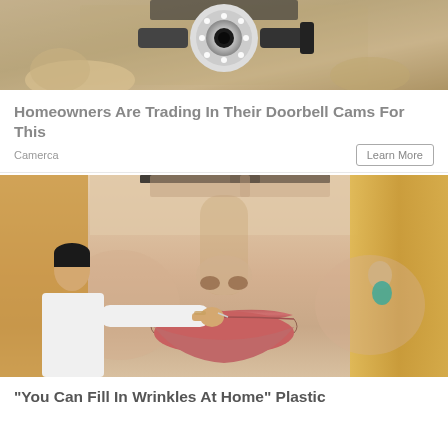[Figure (photo): Close-up photo of a doorbell camera mounted on a wall]
Homeowners Are Trading In Their Doorbell Cams For This
Camerca
Learn More
[Figure (photo): Close-up photo of a woman's face with a man in white applying something to her lips]
"You Can Fill In Wrinkles At Home" Plastic